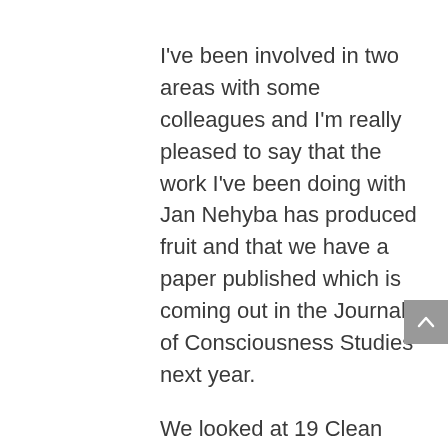I've been involved in two areas with some colleagues and I'm really pleased to say that the work I've been doing with Jan Nehyba has produced fruit and that we have a paper published which is coming out in the Journal of Consciousness Studies next year.
We looked at 19 Clean Language interviews by experienced Clean Language interviewers and we found out… so how clean are these people? You know, are